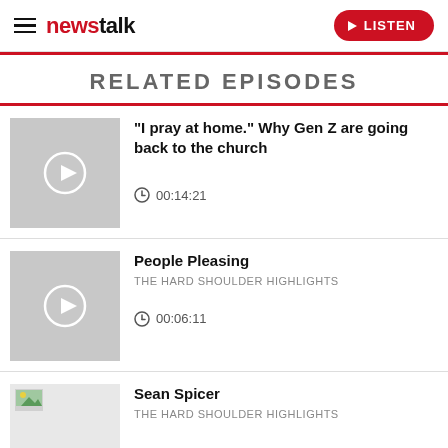newstalk — LISTEN
RELATED EPISODES
"I pray at home." Why Gen Z are going back to the church — 00:14:21
People Pleasing — THE HARD SHOULDER HIGHLIGHTS — 00:06:11
Sean Spicer — THE HARD SHOULDER HIGHLIGHTS